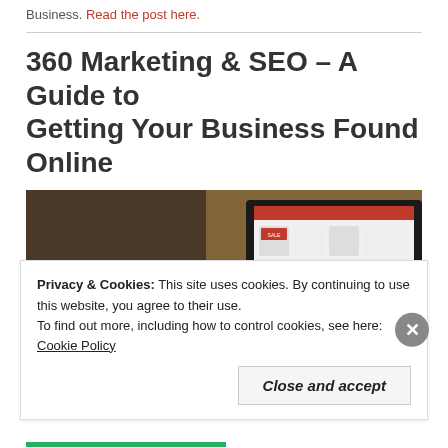Business. Read the post here.
360 Marketing & SEO – A Guide to Getting Your Business Found Online
[Figure (photo): A hand holding a red credit card in front of a laptop screen showing an e-commerce website]
Privacy & Cookies: This site uses cookies. By continuing to use this website, you agree to their use.
To find out more, including how to control cookies, see here: Cookie Policy
Close and accept